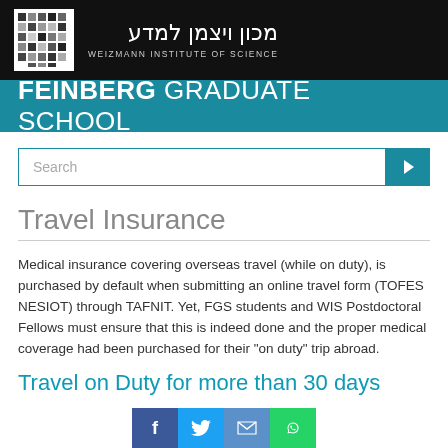WEIZMANN INSTITUTE OF SCIENCE
FEINBERG GRADUATE SCHOOL
Search
Travel Insurance
Medical insurance covering overseas travel (while on duty), is purchased by default when submitting an online travel form (TOFES NESIOT) through TAFNIT. Yet, FGS students and WIS Postdoctoral Fellows must ensure that this is indeed done and the proper medical coverage had been purchased for their "on duty" trip abroad.
Travel on Duty for more than 30 days